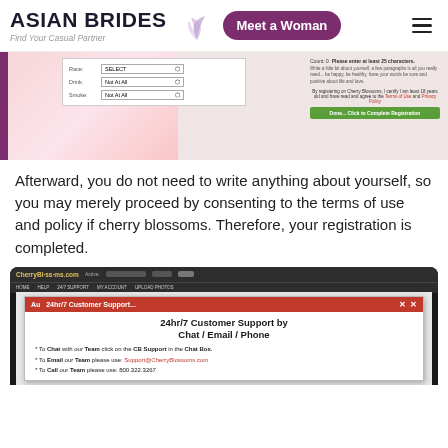ASIAN BRIDES – Find Your Casual Partner | Meet a Woman
[Figure (screenshot): Cherry Blossoms registration form screenshot showing Race, Drink, Smoke dropdowns and a text area with 'Count: 0 Please enter at least 25 characters', and a green 'Done... Click to Complete Registration' button]
Afterward, you do not need to write anything about yourself, so you may merely proceed by consenting to the terms of use and policy if cherry blossoms. Therefore, your registration is completed.
[Figure (screenshot): CherryBlossoms.com website screenshot showing a 24hr/7 Customer Support popup with options: To Chat with our Team click on the CB Support in the Chat Box. To Email our Team please use: Support@CherryBlossoms.com. To Call our Team please use: 800.322.3267]